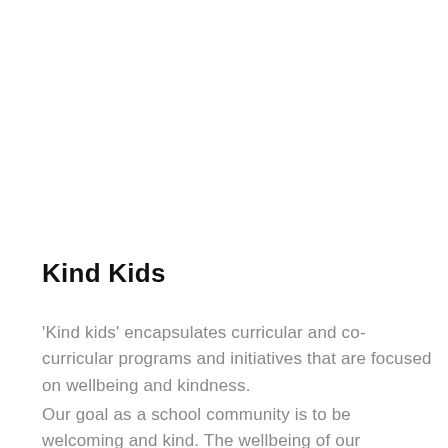Kind Kids
'Kind kids' encapsulates curricular and co-curricular programs and initiatives that are focused on wellbeing and kindness.
Our goal as a school community is to be welcoming and kind. The wellbeing of our members, families and office occupants is of